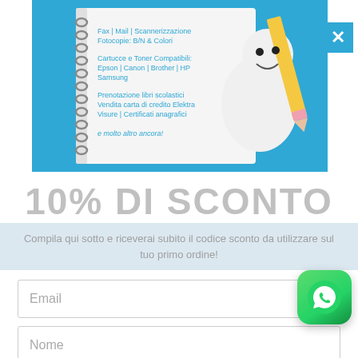[Figure (illustration): Blue background promotional banner with a 3D cartoon character holding a pencil next to a notebook. The notebook lists services: Fax | Mail | Scannerizzazione, Fotocopie: B/N & Colori, Cartucce e Toner Compatibili: Epson | Canon | Brother | HP Samsung, Prenotazione libri scolastici, Vendita carta di credito Elektra, Visure | Certificati anagrafici, e molto altro ancora!]
10% DI SCONTO
Compila qui sotto e riceverai subito il codice sconto da utilizzare sul tuo primo ordine!
Email
Nome
Inserendo l'email accetti l'informativa sulla privacy di